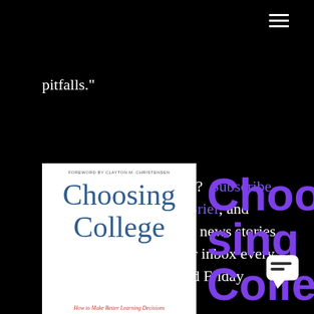☰ (menu icon)
pitfalls."
Like what you're reading?  Subscribe to the Higher Ed News Brief, and receive the industry's top news stories delivered straight to your inbox every Monday, Wednesday, and Friday.
[Figure (photo): Book cover of 'Choosing College: How to Make Better Learning Decisions' with foreword by Clayton M. Christensen, teal serif title on white background with red subtitle text]
Choosing Colle